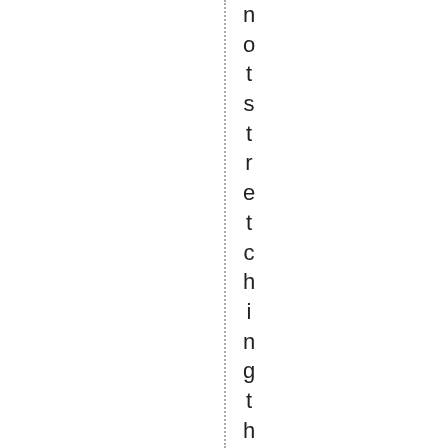notstretching the ballout . l t